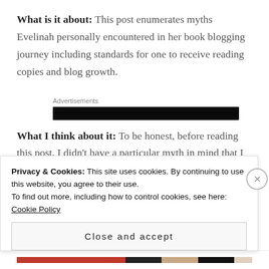What is it about: This post enumerates myths Evelinah personally encountered in her book blogging journey including standards for one to receive reading copies and blog growth.
Advertisements
What I think about it: To be honest, before reading this post, I didn't have a particular myth in mind that I was expecting to see in the list but reading
Privacy & Cookies: This site uses cookies. By continuing to use this website, you agree to their use.
To find out more, including how to control cookies, see here: Cookie Policy
Close and accept